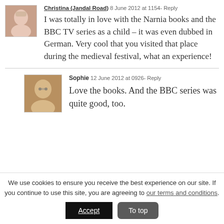Christina (Jandal Road)  8 June 2012 at 1154 - Reply
I was totally in love with the Narnia books and the BBC TV series as a child – it was even dubbed in German. Very cool that you visited that place during the medieval festival, what an experience!
Sophie  12 June 2012 at 0926 - Reply
Love the books. And the BBC series was quite good, too.
We use cookies to ensure you receive the best experience on our site. If you continue to use this site, you are agreeing to our terms and conditions.